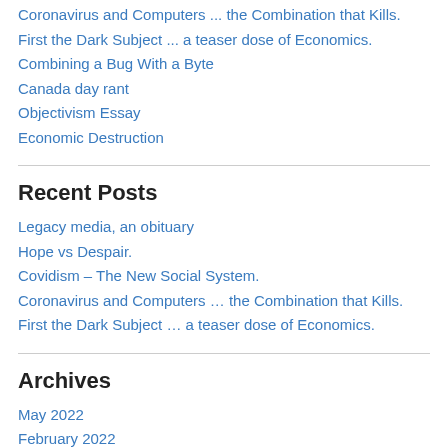Coronavirus and Computers ... the Combination that Kills.
First the Dark Subject ... a teaser dose of Economics.
Combining a Bug With a Byte
Canada day rant
Objectivism Essay
Economic Destruction
Recent Posts
Legacy media, an obituary
Hope vs Despair.
Covidism – The New Social System.
Coronavirus and Computers … the Combination that Kills.
First the Dark Subject … a teaser dose of Economics.
Archives
May 2022
February 2022